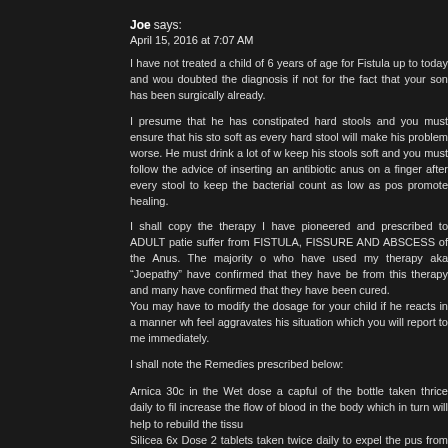Joe says:
April 15, 2016 at 7:07 AM
I have not treated a child of 6 years of age for Fistula up to today and would have doubted the diagnosis if not for the fact that your son has been surgically already.
I presume that he has constipated hard stools and you must ensure that his stools are soft as every hard stool will make his problem worse. He must drink a lot of water to keep his stools soft and you must follow the advice of inserting an antibiotic into the anus on a finger after every stool to keep the bacterial count as low as possible to promote healing.
I shall copy the therapy I have pioneered and prescribed to ADULT patients who suffer from FISTULA, FISSURE AND ABSCESS of the Anus. The majority of those who have used my therapy aka "Joepathy" have confirmed that they have benefited from this therapy and many have confirmed that they have been cured.
You may have to modify the dosage for your child if he reacts in a manner which you feel aggravates his situation which you will report to me immediately.
I shall note the Remedies prescribed below:
Arnica 30c in the Wet dose a capful of the bottle taken thrice daily to filt increase the flow of blood in the body which in turn will help to rebuild the tissue.
Silicea 6x Dose 2 tablets taken twice daily to expel the pus from the lesion.
Nat Phos 6x Dose 2-3 tablets taken thrice daily after meals to soften the stools.
Ferr Phos 6x Dose 2 tablets taken twice daily to improve the quality of the blood to help heal the lesion.
Antibiotic Ointment like Polyfax or equivalent which is used internally on the